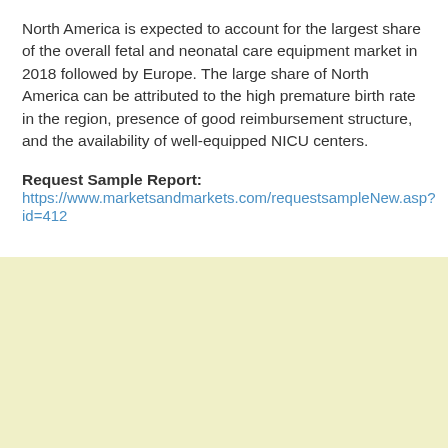North America is expected to account for the largest share of the overall fetal and neonatal care equipment market in 2018 followed by Europe. The large share of North America can be attributed to the high premature birth rate in the region, presence of good reimbursement structure, and the availability of well-equipped NICU centers.
Request Sample Report:
https://www.marketsandmarkets.com/requestsampleNew.asp?id=412